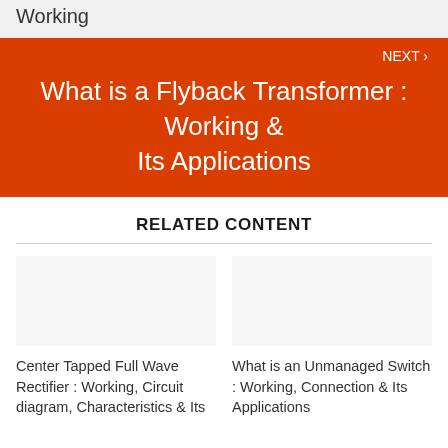Working
NEXT ›
What is a Flyback Transformer : Working & Its Applications
RELATED CONTENT
Center Tapped Full Wave Rectifier : Working, Circuit diagram, Characteristics & Its
What is an Unmanaged Switch : Working, Connection & Its Applications